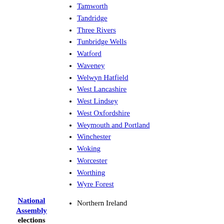Tamworth
Tandridge
Three Rivers
Tunbridge Wells
Watford
Waveney
Welwyn Hatfield
West Lancashire
West Lindsey
West Oxfordshire
Weymouth and Portland
Winchester
Woking
Worcester
Worthing
Wyre Forest
National Assembly elections
Northern Ireland
Referendums
Greater London Authority
Northern Ireland Good Friday Agreement
Categories
Categories: